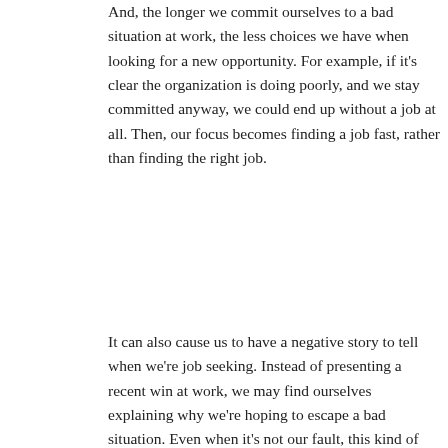And, the longer we commit ourselves to a bad situation at work, the less choices we have when looking for a new opportunity. For example, if it's clear the organization is doing poorly, and we stay committed anyway, we could end up without a job at all. Then, our focus becomes finding a job fast, rather than finding the right job.
It can also cause us to have a negative story to tell when we're job seeking. Instead of presenting a recent win at work, we may find ourselves explaining why we're hoping to escape a bad situation. Even when it's not our fault, this kind of story doesn't reflect well on us.
The longer we stick around in a job where we're being underpaid, the more our lifelong earnings will be impacted. Even just a few years of being underpaid can create a huge ripple effect later.
So, what I'd like to know is this: When is enough really enough? When your employer only gives you a 2% raise, and overlooks you for a promotion– believe the